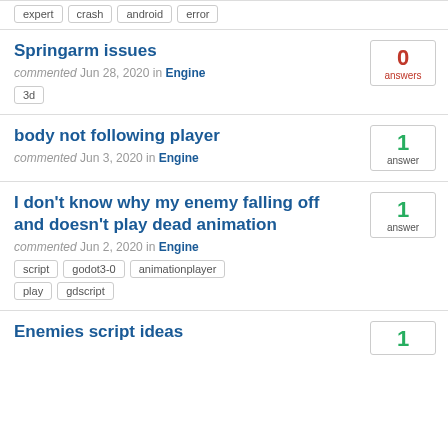expert | crash | android | error
Springarm issues
commented Jun 28, 2020 in Engine
3d
0 answers
body not following player
commented Jun 3, 2020 in Engine
1 answer
I don't know why my enemy falling off and doesn't play dead animation
commented Jun 2, 2020 in Engine
script godot3-0 animationplayer play gdscript
1 answer
Enemies script ideas
1